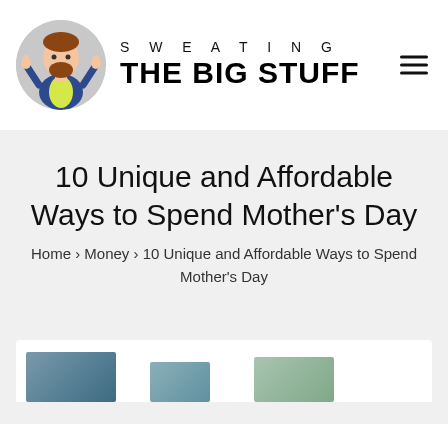[Figure (logo): Sweating the Big Stuff blog logo — circular avatar of a cartoon man with beard and vest, next to text 'SWEATING THE BIG STUFF' with hamburger menu icon on the right]
10 Unique and Affordable Ways to Spend Mother's Day
Home › Money › 10 Unique and Affordable Ways to Spend Mother's Day
[Figure (photo): Partially visible article hero image showing background scenery, visible at the bottom edge of the page]